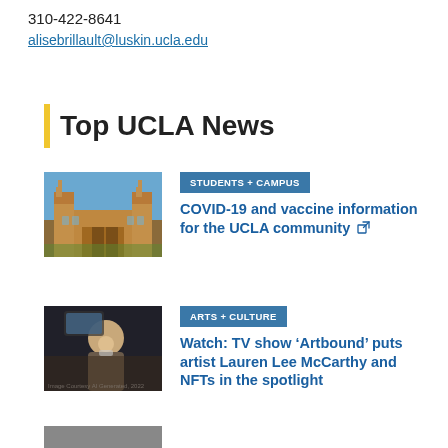310-422-8641
alisebrillault@luskin.ucla.edu
Top UCLA News
[Figure (photo): Photo of UCLA campus building (Royce Hall) with blue sky]
STUDENTS + CAMPUS
COVID-19 and vaccine information for the UCLA community
[Figure (photo): Photo of a masked person taking a selfie outdoors at night]
ARTS + CULTURE
Watch: TV show ‘Artbound’ puts artist Lauren Lee McCarthy and NFTs in the spotlight
[Figure (photo): Partial photo visible at bottom of page]